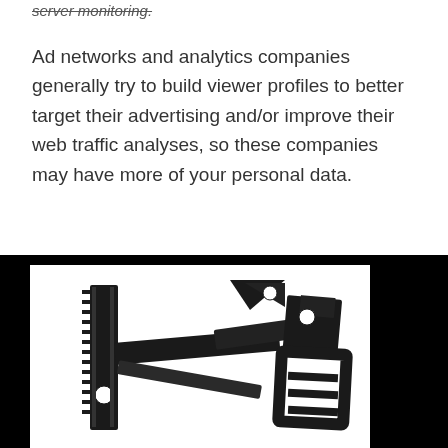server monitoring.
Ad networks and analytics companies generally try to build viewer profiles to better target their advertising and/or improve their web traffic analyses, so these companies may have more of your personal data.
[Figure (photo): A black TV wall mount bracket with articulating arm, shown disassembled/extended on a white background, photographed against a black backdrop.]